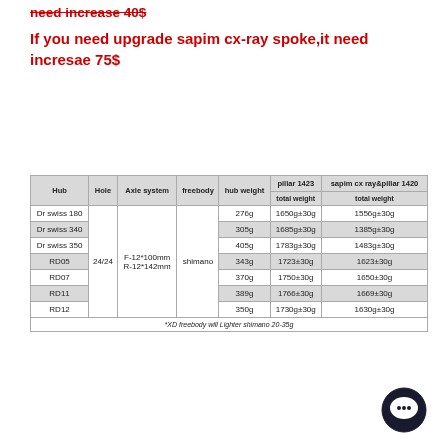need increase 40$
If you need upgrade sapim cx-ray spoke,it need incresae 75$
| Hub | Hole | Axle system | freebody | hub weight | pillar 1423 total weight | sapim cx ray&pillar 1420 total weight |
| --- | --- | --- | --- | --- | --- | --- |
| Dr swiss 180 | 24/24 | F-12*100mm R-12*142mm | shimano | 276g | 1650g±30g | 1556g±30g |
| Dr swiss 340 | 24/24 | F-12*100mm R-12*142mm | shimano | 305g | 1685g±30g | 1385g±30g |
| Dr swiss 350 | 24/24 | F-12*100mm R-12*142mm | shimano | 405g | 1783g±30g | 1483g±30g |
| RD05 | 24/24 | F-12*100mm R-12*142mm | shimano | 343g | 1723±30g | 1623±30g |
| RD07 | 24/24 | F-12*100mm R-12*142mm | shimano | 370g | 1750±30g | 1650±30g |
| RD11 | 24/24 | F-12*100mm R-12*142mm | shimano | 389g | 1766±30g | 1669±30g |
| RD12 | 24/24 | F-12*100mm R-12*142mm | shimano | 350g | 1730g±30g | 1630g±30g |
| *XD freebody will Lighter shimano 20-35g |  |  |  |  |  |  |